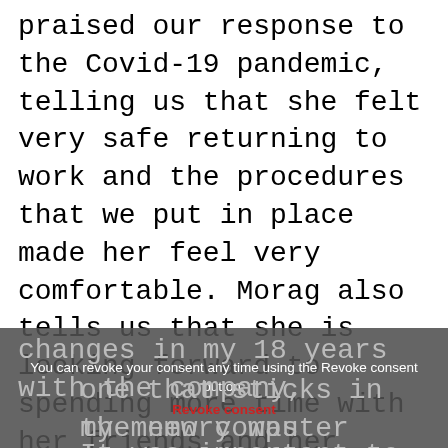praised our response to the Covid-19 pandemic, telling us that she felt very safe returning to work and the procedures that we put in place made her feel very comfortable. Morag also tells us that she is looking forward to spending more time with her friends and her three grandchildren once restrictions are lifted.
"I remember when Prince Charles came to visit us in 2017, that was a great day. He took the time to speak with everyone on the factory floor that came to meet him and he took an interest in all our roles within the business. I've seen a lot of changes in my 18 years with the company, one that sticks in my memory was learning the new computer systems for the office. It was important to pick it up quite quickly
You can revoke your consent any time using the Revoke consent button.
Revoke consent